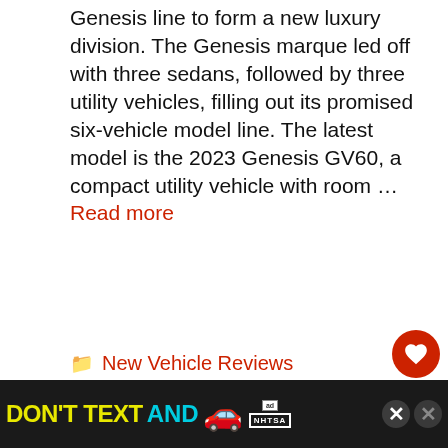Genesis line to form a new luxury division. The Genesis marque led off with three sedans, followed by three utility vehicles, filling out its promised six-vehicle model line. The latest model is the 2023 Genesis GV60, a compact utility vehicle with room … Read more
New Vehicle Reviews
Transmission Fluid Colors Chart (What Each Color Means)
[Figure (screenshot): Advertisement banner: DON'T TEXT AND [car emoji] with ad badge and NHTSA logo on dark background, with close buttons]
[Figure (infographic): What's Next callout with car image: 9 Automotive Trends For...]
[Figure (screenshot): Like button (heart icon, red circle) with count 2, and share button]